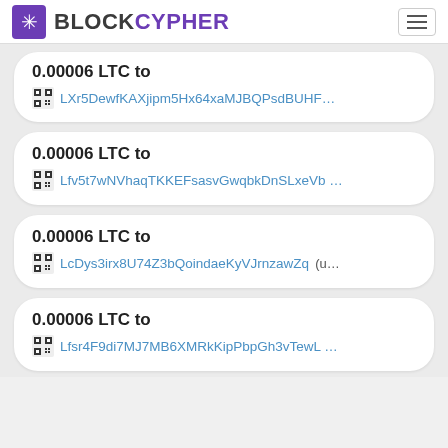BLOCKCYPHER
0.00006 LTC to LXr5DewfKAXjipm5Hx64xaMJBQPsdBUHF…
0.00006 LTC to Lfv5t7wNVhaqTKKEFsasvGwqbkDnSLxeVb …
0.00006 LTC to LcDys3irx8U74Z3bQoindaeKyVJrnzawZq (u…
0.00006 LTC to Lfsr4F9di7MJ7MB6XMRkKipPbpGh3vTewL …